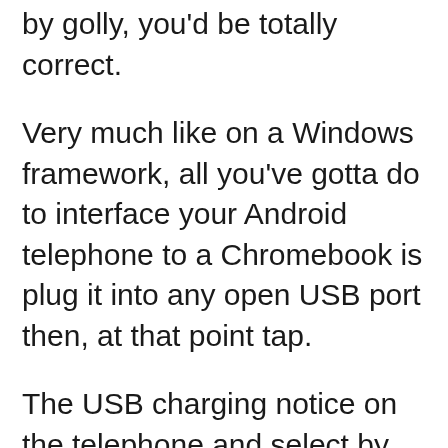by golly, you'd be totally correct.
Very much like on a Windows framework, all you've gotta do to interface your Android telephone to a Chromebook is plug it into any open USB port then, at that point tap.
The USB charging notice on the telephone and select by the same token “Move documents” or “Record move” from the brief that shows up — or select “Move photographs” or “PTP” assuming you need your telephone to be dealt with like a camera, with an emphasis only on mixed media documents.